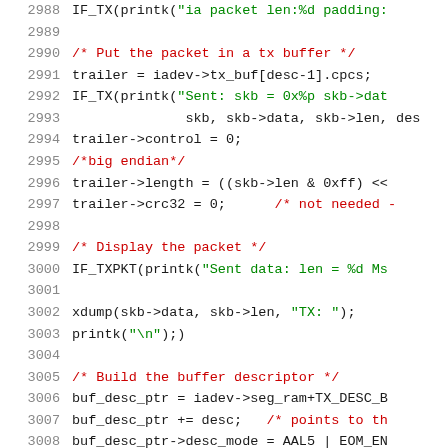[Figure (screenshot): Source code listing in C, showing lines 2988–3009 of a Linux kernel driver, with line numbers in gray, C comments in red, string literals in green, and regular code in dark/black monospace font.]